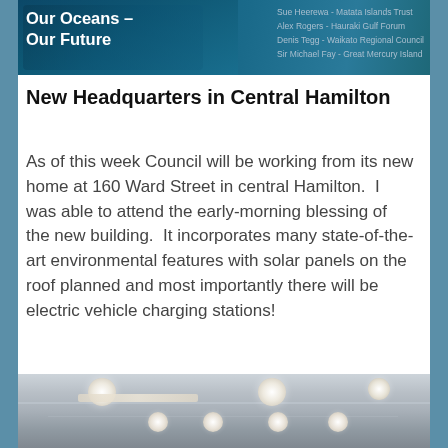[Figure (photo): Dark teal/blue ocean-themed banner with white text reading 'Our Oceans - Our Future' on the left side, and a list of names on the right: 'Sue Heerewa - Matata Islands Trust, Alex Rogers - Hauraki Gulf Forum, Denis Tegg - Waikato Regional Council, Sir Michael Fay - Great Mercury Island']
New Headquarters in Central Hamilton
As of this week Council will be working from its new home at 160 Ward Street in central Hamilton.  I was able to attend the early-morning blessing of the new building.  It incorporates many state-of-the-art environmental features with solar panels on the roof planned and most importantly there will be electric vehicle charging stations!
[Figure (photo): Interior ceiling photograph of a modern building showing recessed circular LED lights and architectural lighting details in warm grey tones]